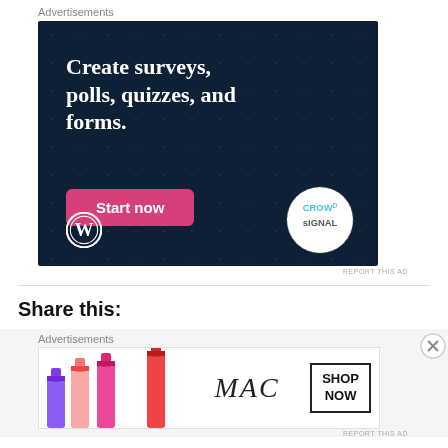Advertisements
[Figure (illustration): Advertisement banner for Crowdsignal/WordPress with dark navy background and dot pattern. White text reads 'Create surveys, polls, quizzes, and forms.' with a pink 'Start now' button, WordPress logo at bottom left, and Crowdsignal badge at bottom right.]
REPORT THIS AD
Share this:
Advertisements
[Figure (illustration): MAC cosmetics advertisement showing colorful lipsticks on left, MAC brand name in italic script in center, and a 'SHOP NOW' box on the right side.]
REPORT THIS AD